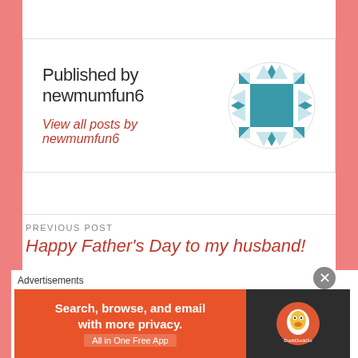Published by newmumfun6
View all posts by newmumfun6
PREVIOUS POST
Happy Father's Day to my husband!
NEXT POST
How to cope with morning sickness
Advertisements
[Figure (other): DuckDuckGo advertisement banner: orange left side with text 'Search, browse, and email with more privacy. All in One Free App', dark right side with DuckDuckGo duck logo]